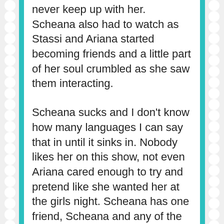never keep up with her. Scheana also had to watch as Stassi and Ariana started becoming friends and a little part of her soul crumbled as she saw them interacting.
Scheana sucks and I don't know how many languages I can say that in until it sinks in. Nobody likes her on this show, not even Ariana cared enough to try and pretend like she wanted her at the girls night. Scheana has one friend, Scheana and any of the background characters mentioned above who need someone to hang out with to make them even the smallest bit